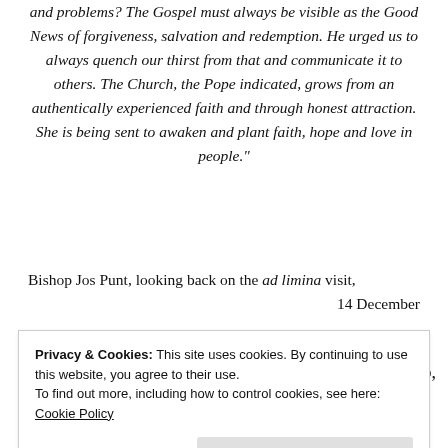and problems? The Gospel must always be visible as the Good News of forgiveness, salvation and redemption. He urged us to always quench our thirst from that and communicate it to others. The Church, the Pope indicated, grows from an authentically experienced faith and through honest attraction. She is being sent to awaken and plant faith, hope and love in people."
Bishop Jos Punt, looking back on the ad limina visit, 14 December
[Figure (photo): Partial photo showing a light blue sky, partially obscured by a cookie consent banner overlay]
And so,
Privacy & Cookies: This site uses cookies. By continuing to use this website, you agree to their use.
To find out more, including how to control cookies, see here: Cookie Policy
Close and accept